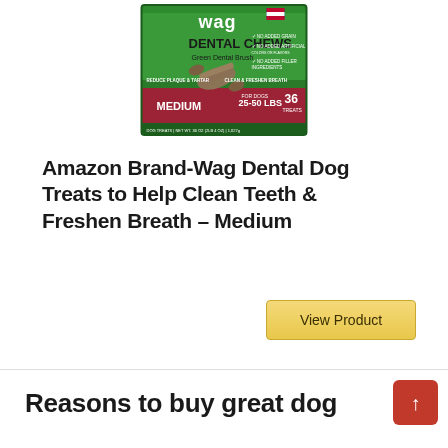[Figure (photo): Wag brand Dental Chews Green Dental Brush product packaging — medium size, for dogs 25-50 lbs, 36 treats, with image of dental chew treat on green and red box]
Amazon Brand-Wag Dental Dog Treats to Help Clean Teeth & Freshen Breath – Medium
[Figure (other): View Product button — gold/yellow colored button with text 'View Product']
Reasons to buy great dog
[Figure (other): Scroll-to-top button — red square button with upward arrow]